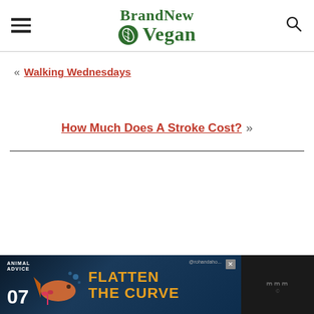BrandNew Vegan
« Walking Wednesdays
How Much Does A Stroke Cost? »
[Figure (other): Advertisement banner: Animal Advice 07, Flatten The Curve, colorful fish illustration]